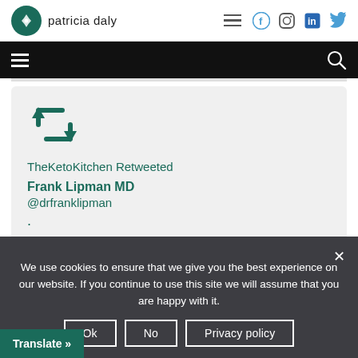patricia daly — website header with logo, hamburger menu, Facebook, Instagram, LinkedIn, Twitter icons
[Figure (screenshot): Black navigation bar with hamburger menu on left and search icon on right]
[Figure (screenshot): Tweet card showing retweet icon, 'TheKetoKitchen Retweeted', 'Frank Lipman MD', '@drfranklipman', and a dot character]
We use cookies to ensure that we give you the best experience on our website. If you continue to use this site we will assume that you are happy with it.
Ok   No   Privacy policy